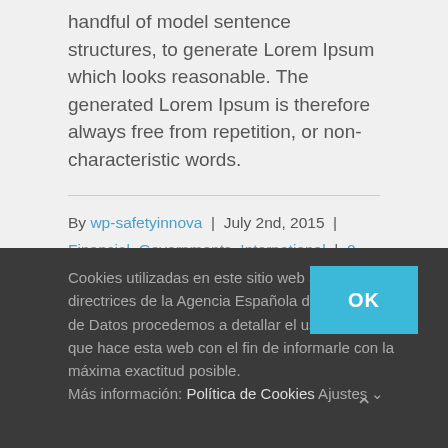handful of model sentence structures, to generate Lorem Ipsum which looks reasonable. The generated Lorem Ipsum is therefore always free from repetition, or non-characteristic words.
By wp-safetyinnova | July 2nd, 2015 | Financial, Governments, International | 0 Comments
Cookies utilizadas en este sitio web Siguiendo las directrices de la Agencia Española de Protección de Datos procedemos a detallar el uso de cookies que hace esta web con el fin de informarle con la máxima exactitud posible. Más información: Política de Cookies Ajustes